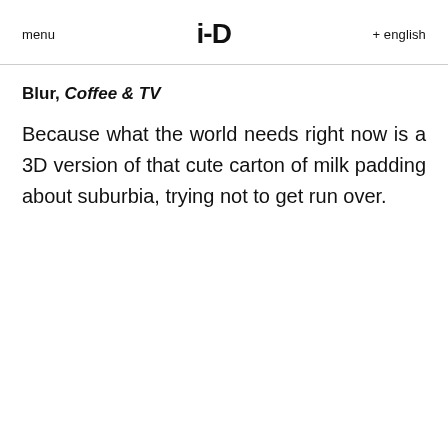menu   i-D   + english
Blur, Coffee & TV
Because what the world needs right now is a 3D version of that cute carton of milk padding about suburbia, trying not to get run over.